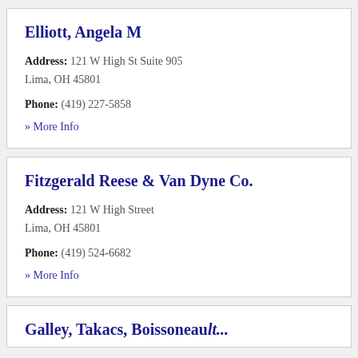Elliott, Angela M
Address: 121 W High St Suite 905
Lima, OH 45801
Phone: (419) 227-5858
» More Info
Fitzgerald Reese & Van Dyne Co.
Address: 121 W High Street
Lima, OH 45801
Phone: (419) 524-6682
» More Info
Galley, Takacs, Boissoneault...